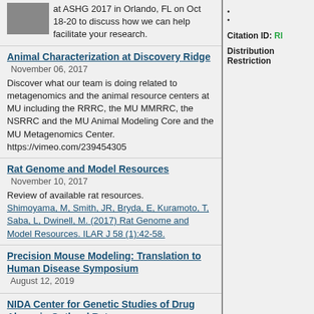at ASHG 2017 in Orlando, FL on Oct 18-20 to discuss how we can help facilitate your research.
Animal Characterization at Discovery Ridge
November 06, 2017
Discover what our team is doing related to metagenomics and the animal resource centers at MU including the RRRC, the MU MMRRC, the NSRRC and the MU Animal Modeling Core and the MU Metagenomics Center.
https://vimeo.com/239454305
Rat Genome and Model Resources
November 10, 2017
Review of available rat resources. Shimoyama, M, Smith, JR, Bryda, E, Kuramoto, T, Saba, L, Dwinell, M. (2017) Rat Genome and Model Resources. ILAR J 58 (1):42-58.
Precision Mouse Modeling: Translation to Human Disease Symposium
August 12, 2019
NIDA Center for Genetic Studies of Drug Abuse in Outbred Rats
August 22, 2019
The NIDA Center for Genetic Studies of Drug Abuse in Outbred Rats (P50DA037844) is calling for applications for Pilot Studies in HS Outbred Rats Supporting Drug Abuse Research.
Remembering Dr. Mary Shimoyama
Citation ID: RI
Distribution Restriction